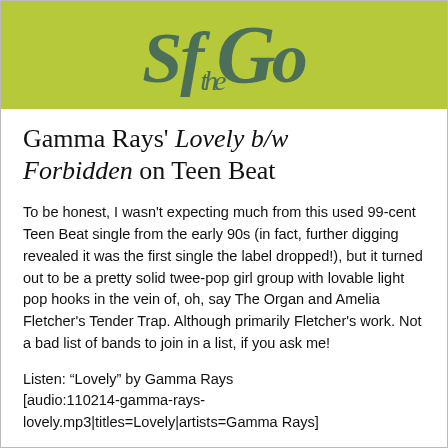[Figure (illustration): Yellow-green banner with stylized dark teal/green illustrated lettering, partially visible, suggesting a band or publication logo with decorative illustrated characters. The word 'the' appears in italic script among the imagery.]
Gamma Rays' Lovely b/w Forbidden on Teen Beat
To be honest, I wasn't expecting much from this used 99-cent Teen Beat single from the early 90s (in fact, further digging revealed it was the first single the label dropped!), but it turned out to be a pretty solid twee-pop girl group with lovable light pop hooks in the vein of, oh, say The Organ and Amelia Fletcher's Tender Trap. Although primarily Fletcher's work. Not a bad list of bands to join in a list, if you ask me!
Listen: “Lovely” by Gamma Rays
[audio:110214-gamma-rays-lovely.mp3|titles=Lovely|artists=Gamma Rays]
* * * * *